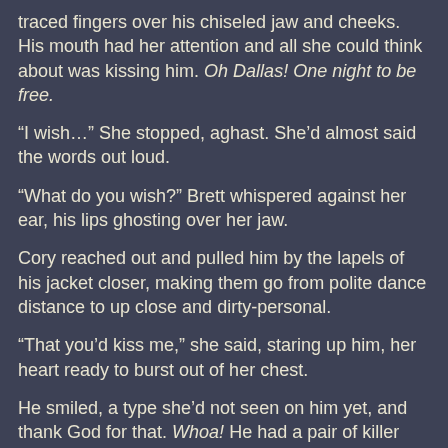traced fingers over his chiseled jaw and cheeks. His mouth had her attention and all she could think about was kissing him. Oh Dallas! One night to be free.
“I wish…” She stopped, aghast. She’d almost said the words out loud.
“What do you wish?” Brett whispered against her ear, his lips ghosting over her jaw.
Cory reached out and pulled him by the lapels of his jacket closer, making them go from polite dance distance to up close and dirty-personal.
“That you’d kiss me,” she said, staring up him, her heart ready to burst out of her chest.
He smiled, a type she’d not seen on him yet, and thank God for that. Whoa! He had a pair of killer dimples that reached inside her, down deep, and poured more fuel on the smolder he’d already awakened. The flames shot upward, blasting open her desire for hot, crazy, and now.